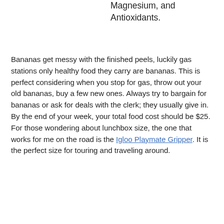Magnesium, and Antioxidants.
Bananas get messy with the finished peels, luckily gas stations only healthy food they carry are bananas. This is perfect considering when you stop for gas, throw out your old bananas, buy a few new ones. Always try to bargain for bananas or ask for deals with the clerk; they usually give in. By the end of your week, your total food cost should be $25. For those wondering about lunchbox size, the one that works for me on the road is the Igloo Playmate Gripper. It is the perfect size for touring and traveling around.